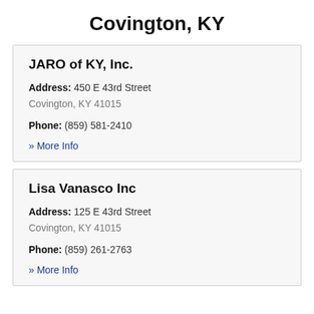Covington, KY
JARO of KY, Inc.
Address: 450 E 43rd Street
Covington, KY 41015
Phone: (859) 581-2410
» More Info
Lisa Vanasco Inc
Address: 125 E 43rd Street
Covington, KY 41015
Phone: (859) 261-2763
» More Info